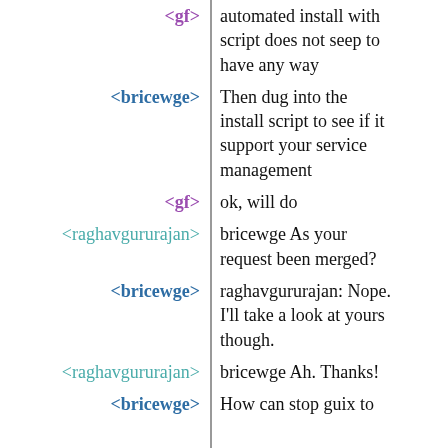<gf> automated install with script does not seep to have any way
<bricewge> Then dug into the install script to see if it support your service management
<gf> ok, will do
<raghavgururajan> bricewge As your request been merged?
<bricewge> raghavgururajan: Nope. I'll take a look at yours though.
<raghavgururajan> bricewge Ah. Thanks!
<bricewge> How can stop guix to